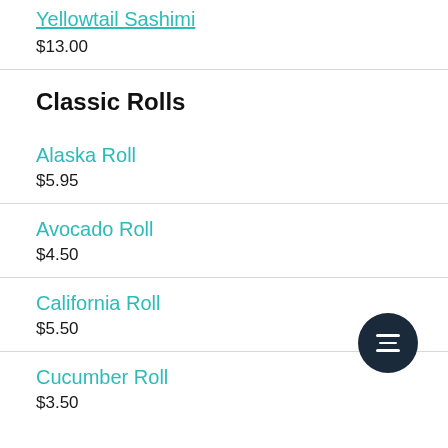Yellowtail Sashimi
$13.00
Classic Rolls
Alaska Roll
$5.95
Avocado Roll
$4.50
California Roll
$5.50
Cucumber Roll
$3.50